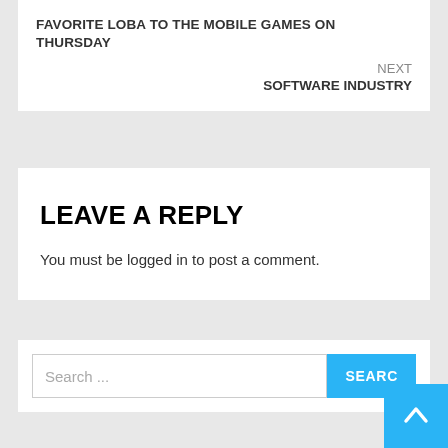FAVORITE LOBA TO THE MOBILE GAMES ON THURSDAY
NEXT
SOFTWARE INDUSTRY
LEAVE A REPLY
You must be logged in to post a comment.